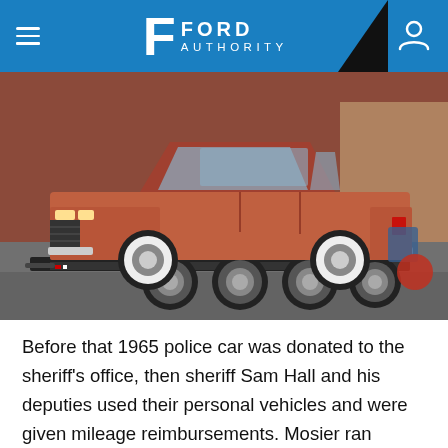Ford Authority
[Figure (photo): A vintage orange/red 1965 Ford police car loaded on a black flatbed trailer, parked in front of a brick building. The car has whitewall tires and classic styling.]
Before that 1965 police car was donated to the sheriff's office, then sheriff Sam Hall and his deputies used their personal vehicles and were given mileage reimbursements. Mosier ran across an old newspaper clipping of the car shortly after taking office in 2016 about the original donation of the car and decided